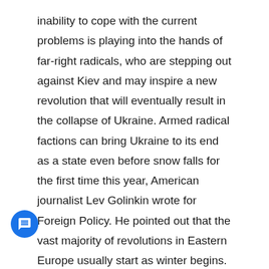inability to cope with the current problems is playing into the hands of far-right radicals, who are stepping out against Kiev and may inspire a new revolution that will eventually result in the collapse of Ukraine. Armed radical factions can bring Ukraine to its end as a state even before snow falls for the first time this year, American journalist Lev Golinkin wrote for Foreign Policy. He pointed out that the vast majority of revolutions in Eastern Europe usually start as winter begins. Bad news for Poroshenko is that winter is coming.
Russian President Vladimir Putin met Saudi Arabia's defence minister, Sheikh Mohammed bin Salman on Sunday in Sochi. According to the Russian FM Sergey Lavrov they agreed that Moscow and Riyadh should pursue common goals in Syria, including combating terrorists and ensuring the triumph of national reconciliation in Syria. An interesting fact is Saudi